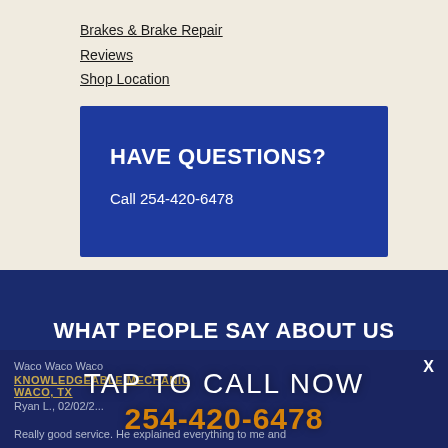Brakes & Brake Repair
Reviews
Shop Location
HAVE QUESTIONS?
Call 254-420-6478
WHAT PEOPLE SAY ABOUT US
Waco Waco Waco
KNOWLEDGEABLE MECHANIC
WACO, TX
Ryan L., 02/02/2...
[Figure (infographic): TAP TO CALL NOW overlay with phone number 254-420-6478 in orange]
Really good service. He explained everything to me and